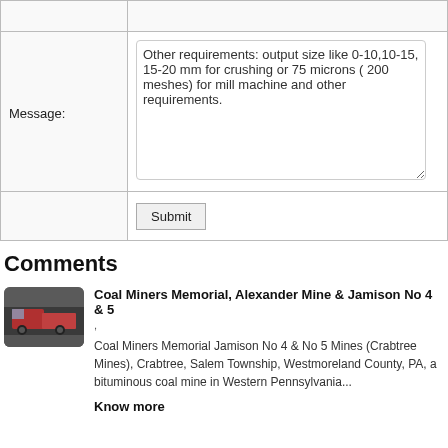|  |  |
| --- | --- |
| Message: | Other requirements: output size like 0-10,10-15, 15-20 mm for crushing or 75 microns ( 200 meshes) for mill machine and other requirements. |
|  | Submit |
Comments
[Figure (photo): Thumbnail image of a coal mine site with trucks]
Coal Miners Memorial, Alexander Mine & Jamison No 4 & 5
,
Coal Miners Memorial Jamison No 4 & No 5 Mines (Crabtree Mines), Crabtree, Salem Township, Westmoreland County, PA, a bituminous coal mine in Western Pennsylvania...
Know more